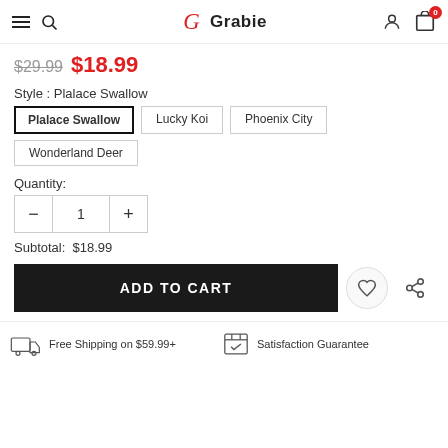Grabie
$29.99  $18.99
Style : Plalace Swallow
Plalace Swallow
Lucky Koi
Phoenix City
Wonderland Deer
Quantity:
1
Subtotal:  $18.99
ADD TO CART
Free Shipping on $59.99+
Satisfaction Guarantee